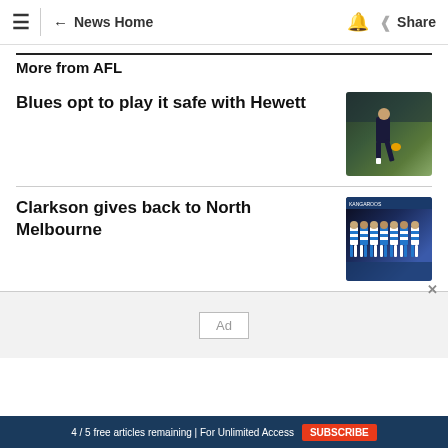≡ ← News Home 🔔 Share
More from AFL
Blues opt to play it safe with Hewett
[Figure (photo): AFL player kicking a football on a green field with crowds in the background]
Clarkson gives back to North Melbourne
[Figure (photo): North Melbourne AFL team lined up in blue and white hoops at a night game]
Ad
4 / 5 free articles remaining | For Unlimited Access SUBSCRIBE